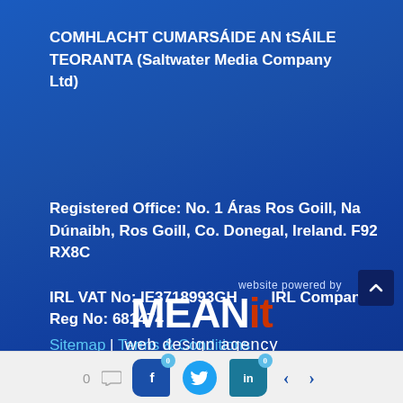COMHLACHT CUMARSÁIDE AN tSÁILE TEORANTA (Saltwater Media Company Ltd)
Registered Office: No. 1 Áras Ros Goill, Na Dúnaibh, Ros Goill, Co. Donegal, Ireland. F92 RX8C
IRL VAT No: IE3718993GH        IRL Company Reg No: 681474
Sitemap | Terms & Conditions
website powered by
[Figure (logo): MEANit web design agency logo — MEAN in white bold large text, 'it' in dark red/orange, subtitle 'web design agency' in white below]
0  [comment icon]  [Facebook 0]  [Twitter]  [LinkedIn 0]  [prev arrow]  [next arrow]